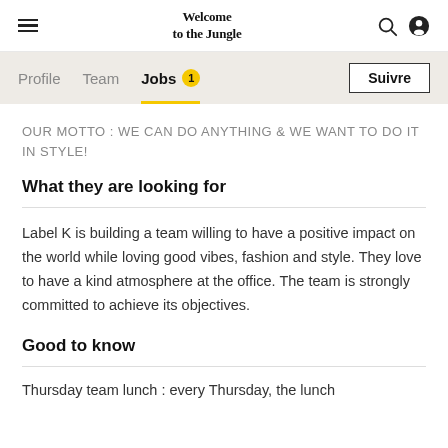Welcome to the Jungle
Profile   Team   Jobs 1   Suivre
OUR MOTTO : WE CAN DO ANYTHING & WE WANT TO DO IT IN STYLE!
What they are looking for
Label K is building a team willing to have a positive impact on the world while loving good vibes, fashion and style. They love to have a kind atmosphere at the office. The team is strongly committed to achieve its objectives.
Good to know
Thursday team lunch : every Thursday, the lunch